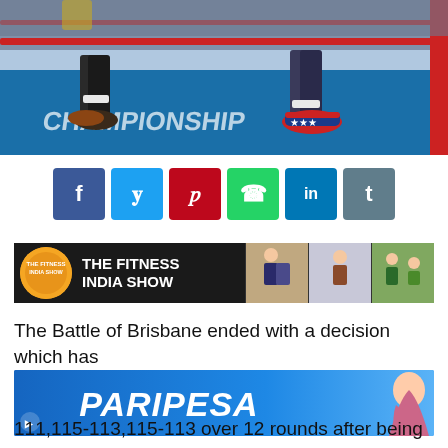[Figure (photo): Boxing match photo showing two fighters' legs and feet on a blue canvas ring, with boxing ring ropes and crowd visible in background]
[Figure (infographic): Social media share buttons row: Facebook (blue), Twitter (cyan), Pinterest (red), WhatsApp (green), LinkedIn (dark blue), Tumblr (grey-blue)]
[Figure (photo): The Fitness India Show advertisement banner with orange logo, white text on black background, and fitness activity photos on right]
The Battle of Brisbane ended with a decision which has
[Figure (photo): Paripesa betting advertisement banner with blue gradient background and white italic bold text reading PARIPESA, with woman figure on right]
111,115-113,115-113 over 12 rounds after being in